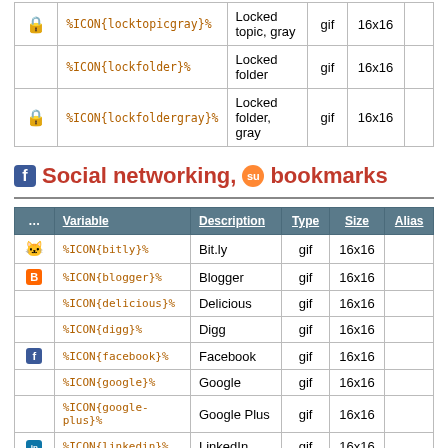|  | Variable | Description | Type | Size | Alias |
| --- | --- | --- | --- | --- | --- |
| [lock icon] | %ICON{locktopicgray}% | Locked topic, gray | gif | 16x16 |  |
|  | %ICON{lockfolder}% | Locked folder | gif | 16x16 |  |
| [lock folder gray] | %ICON{lockfoldergray}% | Locked folder, gray | gif | 16x16 |  |
Social networking, bookmarks
|  | Variable | Description | Type | Size | Alias |
| --- | --- | --- | --- | --- | --- |
| [bitly] | %ICON{bitly}% | Bit.ly | gif | 16x16 |  |
| [blogger] | %ICON{blogger}% | Blogger | gif | 16x16 |  |
|  | %ICON{delicious}% | Delicious | gif | 16x16 |  |
|  | %ICON{digg}% | Digg | gif | 16x16 |  |
| [facebook] | %ICON{facebook}% | Facebook | gif | 16x16 |  |
|  | %ICON{google}% | Google | gif | 16x16 |  |
|  | %ICON{google-plus}% | Google Plus | gif | 16x16 |  |
| [linkedin] | %ICON{linkedin}% | LinkedIn | gif | 16x16 |  |